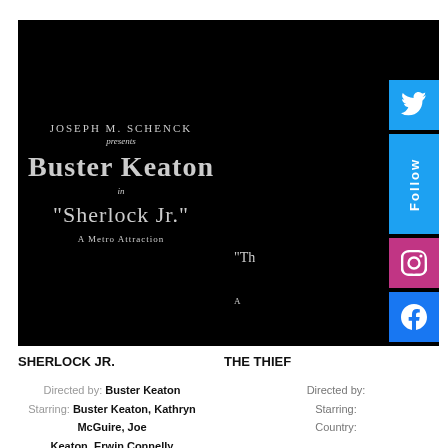[Figure (photo): Black and white silent film title card showing 'Joseph M. Schenck presents Buster Keaton in Sherlock Jr. A Metro Attraction']
SHERLOCK JR.
Directed by: Buster Keaton
Starring: Buster Keaton, Kathryn McGuire, Joe Keaton, Erwin Connelly
Country: USA
[Figure (screenshot): Black and white film title card partially visible with social media follow buttons (Twitter, Follow, Instagram, Facebook) overlaid on right side]
THE THIEF
Directed by:
Starring:
Country: